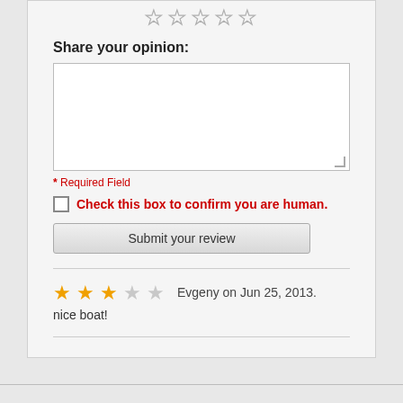[Figure (other): Five empty/outline star rating icons at top center]
Share your opinion:
[Figure (other): Empty text area for opinion input]
* Required Field
Check this box to confirm you are human.
[Figure (other): Submit your review button]
[Figure (other): 3 out of 5 star rating (3 filled, 2 empty)]
Evgeny on Jun 25, 2013.
nice boat!